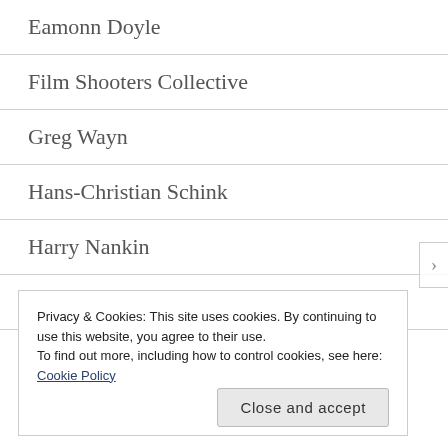Eamonn Doyle
Film Shooters Collective
Greg Wayn
Hans-Christian Schink
Harry Nankin
Jane Burton
Jeff Brouws
Privacy & Cookies: This site uses cookies. By continuing to use this website, you agree to their use.
To find out more, including how to control cookies, see here: Cookie Policy
Close and accept